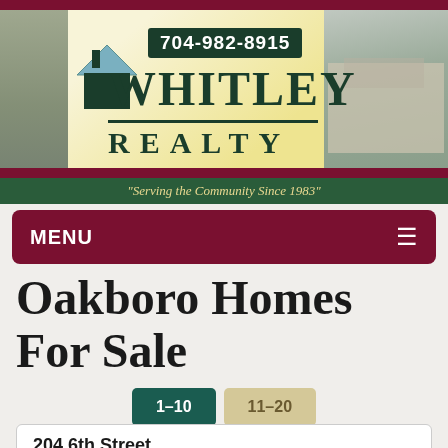[Figure (screenshot): Whitley Realty website header banner showing logo with house icon, phone number 704-982-8915, company name Whitley Realty, and background photos of buildings]
"Serving the Community Since 1983"
MENU
Oakboro Homes For Sale
1–10  11–20
204 6th Street